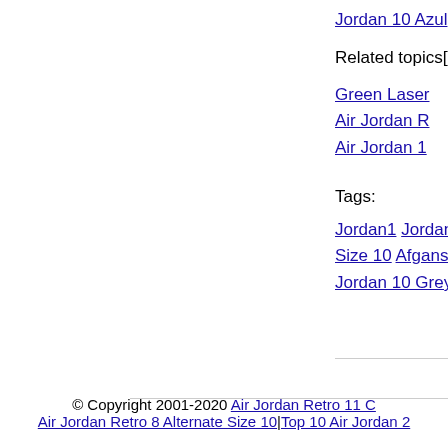Jordan 10 Azul
Related topics[]
Green Laser
Air Jordan R
Air Jordan 1
Tags:
Jordan1 Jordan 10   Size 10 Afganstan   Jordan 10 Grey St
© Copyright 2001-2020 Air Jordan Retro 11 C   Air Jordan Retro 8 Alternate Size 10|Top 10 Air Jordan 2